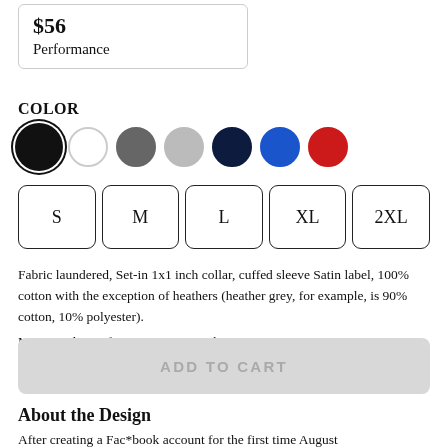$56
Performance
COLOR
[Figure (other): Color swatches: black (selected, outlined), white, dark gray, light gray, navy, blue, red]
[Figure (other): Size selector buttons: S, M, L, XL, 2XL]
Fabric laundered, Set-in 1x1 inch collar, cuffed sleeve Satin label, 100% cotton with the exception of heathers (heather grey, for example, is 90% cotton, 10% polyester).
More Product Information & Size Chart
ADD TO CART
About the Design
After creating a Fac*book account for the first time August